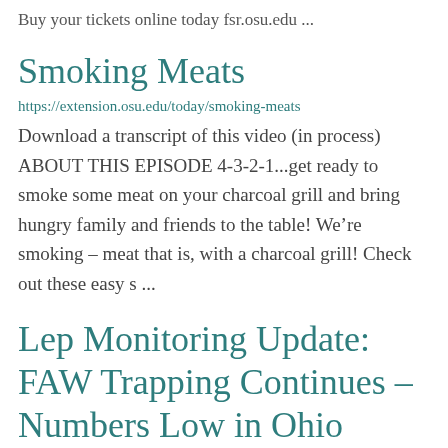Buy your tickets online today fsr.osu.edu ...
Smoking Meats
https://extension.osu.edu/today/smoking-meats
Download a transcript of this video (in process) ABOUT THIS EPISODE 4-3-2-1...get ready to smoke some meat on your charcoal grill and bring hungry family and friends to the table! We're smoking – meat that is, with a charcoal grill! Check out these easy s ...
Lep Monitoring Update: FAW Trapping Continues – Numbers Low in Ohio